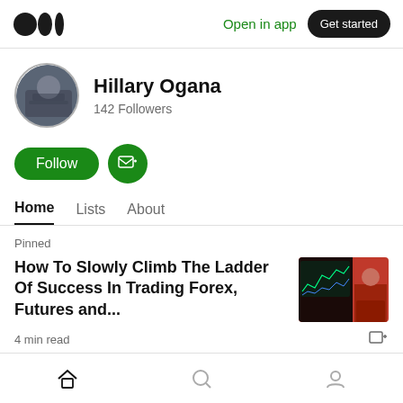Medium logo | Open in app | Get started
Hillary Ogana
142 Followers
[Figure (screenshot): Green Follow button and green subscribe email icon button]
Home  Lists  About
Pinned
How To Slowly Climb The Ladder Of Success In Trading Forex, Futures and...
[Figure (photo): Thumbnail image of a trading screen with red background and monitor showing charts]
4 min read
Home | Search | Profile navigation icons